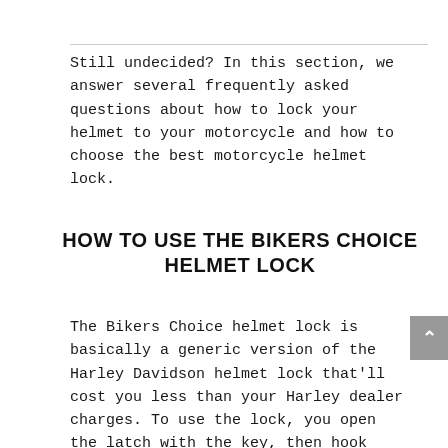Still undecided? In this section, we answer several frequently asked questions about how to lock your helmet to your motorcycle and how to choose the best motorcycle helmet lock.
HOW TO USE THE BIKERS CHOICE HELMET LOCK
The Bikers Choice helmet lock is basically a generic version of the Harley Davidson helmet lock that'll cost you less than your Harley dealer charges. To use the lock, you open the latch with the key, then hook your helmet rings to the latch before closing it.